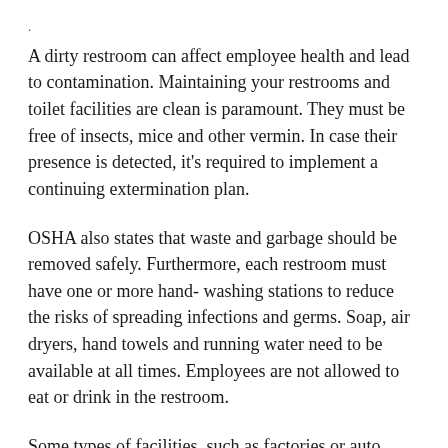.
A dirty restroom can affect employee health and lead to contamination. Maintaining your restrooms and toilet facilities are clean is paramount. They must be free of insects, mice and other vermin. In case their presence is detected, it's required to implement a continuing extermination plan.
OSHA also states that waste and garbage should be removed safely. Furthermore, each restroom must have one or more hand- washing stations to reduce the risks of spreading infections and germs. Soap, air dryers, hand towels and running water need to be available at all times. Employees are not allowed to eat or drink in the restroom.
Some types of facilities, such as factories or auto repair centers, require showering facilities. As an employer, you